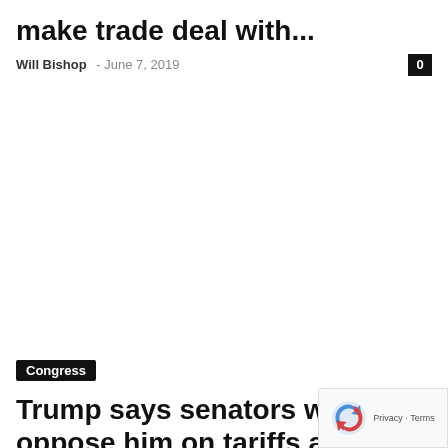make trade deal with...
Will Bishop - June 7, 2019
0
Congress
Trump says senators who oppose him on tariffs and trade war...
Will Bishop - June 6, 2019
0